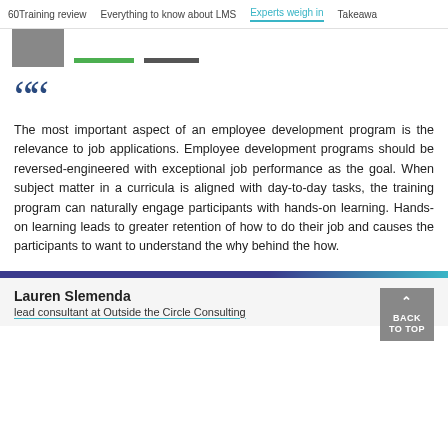60Training review   Everything to know about LMS   Experts weigh in   Takeawa
[Figure (photo): Partial photo of a person in dark suit jacket, with green and dark colored bars beside it]
The most important aspect of an employee development program is the relevance to job applications. Employee development programs should be reversed-engineered with exceptional job performance as the goal. When subject matter in a curricula is aligned with day-to-day tasks, the training program can naturally engage participants with hands-on learning. Hands-on learning leads to greater retention of how to do their job and causes the participants to want to understand the why behind the how.
Lauren Slemenda
lead consultant at Outside the Circle Consulting